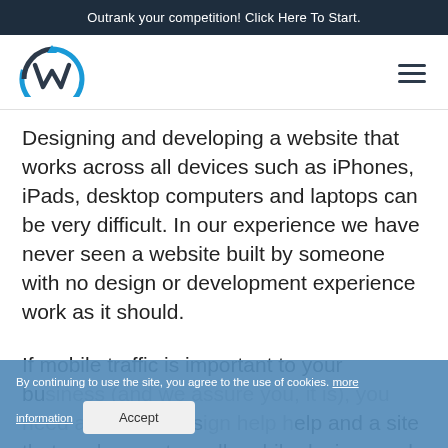Outrank your competition! Click Here To Start.
[Figure (logo): Webware logo - stylized W with circular arrow in blue and dark navy]
Designing and developing a website that works across all devices such as iPhones, iPads, desktop computers and laptops can be very difficult. In our experience we have never seen a website built by someone with no design or development experience work as it should.
If mobile traffic is important to your business (and we assure you, it is), you need website design help and a site that works great on all mobile devices and
By continuing to use the site, you agree to the use of cookies. more information